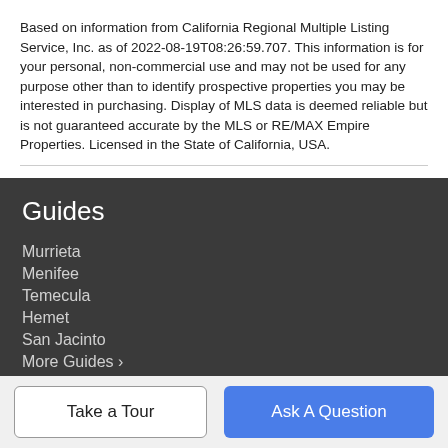Based on information from California Regional Multiple Listing Service, Inc. as of 2022-08-19T08:26:59.707. This information is for your personal, non-commercial use and may not be used for any purpose other than to identify prospective properties you may be interested in purchasing. Display of MLS data is deemed reliable but is not guaranteed accurate by the MLS or RE/MAX Empire Properties. Licensed in the State of California, USA.
Guides
Murrieta
Menifee
Temecula
Hemet
San Jacinto
More Guides >
Take a Tour
Ask A Question